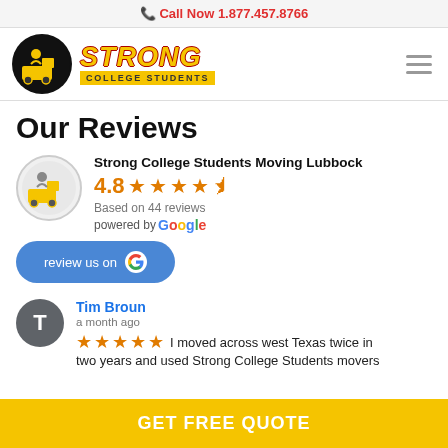📞 Call Now 1.877.457.8766
[Figure (logo): Strong College Students logo: black circle with moving truck figure, yellow bold italic STRONG text, yellow COLLEGE STUDENTS subtitle bar]
Our Reviews
[Figure (infographic): Google review widget: truck avatar, business name 'Strong College Students Moving Lubbock', rating 4.8 with 4.5 stars, 'Based on 44 reviews', 'powered by Google', 'review us on G' button]
Strong College Students Moving Lubbock
4.8 ★★★★½
Based on 44 reviews
powered by Google
review us on G
Tim Broun
a month ago
I moved across west Texas twice in two years and used Strong College Students movers
GET FREE QUOTE